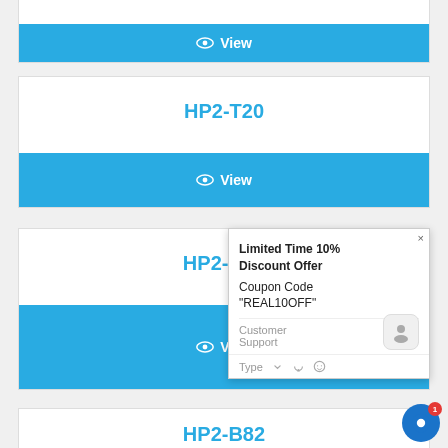[Figure (screenshot): Top portion of a product card with a blue 'View' button (eye icon + View text)]
HP2-T20
[Figure (screenshot): Blue 'View' button with eye icon for HP2-T20 card]
HP2-K20
[Figure (screenshot): Blue 'View' button with eye icon for HP2-K20 card]
Limited Time 10% Discount Offer Coupon Code "REAL10OFF"
Customer Support just now
Type
HP2-B82